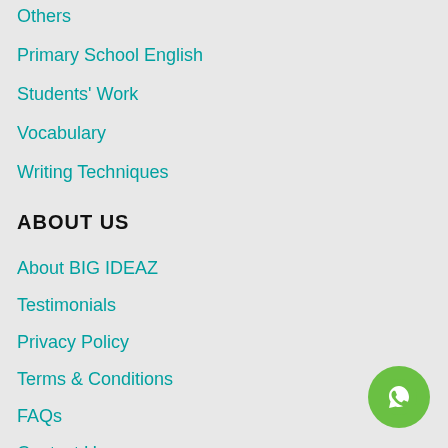Others
Primary School English
Students' Work
Vocabulary
Writing Techniques
ABOUT US
About BIG IDEAZ
Testimonials
Privacy Policy
Terms & Conditions
FAQs
Contact Us
[Figure (illustration): WhatsApp contact button - green circle with WhatsApp phone icon]